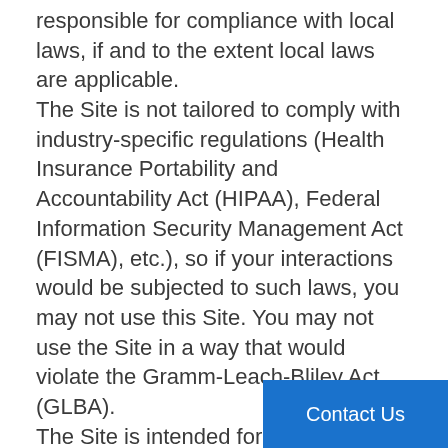responsible for compliance with local laws, if and to the extent local laws are applicable. The Site is not tailored to comply with industry-specific regulations (Health Insurance Portability and Accountability Act (HIPAA), Federal Information Security Management Act (FISMA), etc.), so if your interactions would be subjected to such laws, you may not use this Site. You may not use the Site in a way that would violate the Gramm-Leach-Bliley Act (GLBA). The Site is intended for users who are at least 18 years old. Persons under the age of 18 are not permitted to use or register for the Site.
INTELLECTUAL PROPERTY RIGHTS
Unless otherwise indicated, the Site is our proprietary property and all source code, datab functionality, software, website des